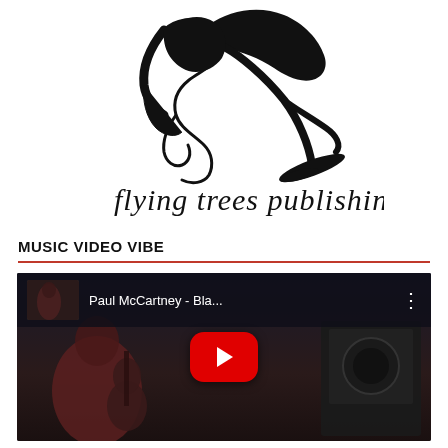[Figure (logo): Flying Trees Publishing logo: black ink brush drawing of a bird/crane in flight above handwritten cursive text 'flying trees publishing']
MUSIC VIDEO VIBE
[Figure (screenshot): YouTube video thumbnail showing Paul McCartney - Bla... with a play button overlay. A man playing guitar is visible in the background.]